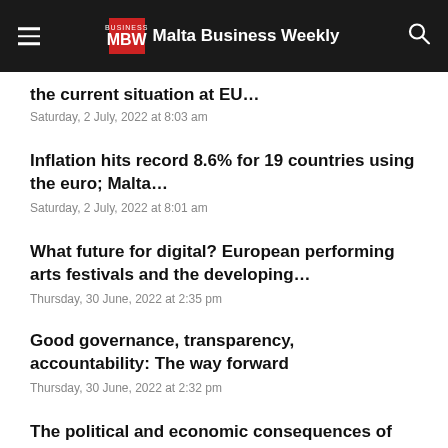MBW Malta Business Weekly
the current situation at EU…
Saturday, 2 July, 2022 at 8:03 am
Inflation hits record 8.6% for 19 countries using the euro; Malta…
Saturday, 2 July, 2022 at 8:01 am
What future for digital? European performing arts festivals and the developing…
Thursday, 30 June, 2022 at 2:35 pm
Good governance, transparency, accountability: The way forward
Thursday, 30 June, 2022 at 2:32 pm
The political and economic consequences of liberty…